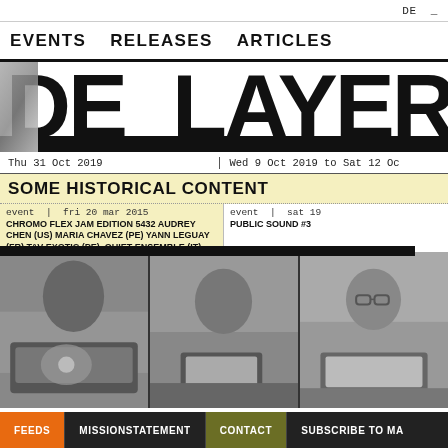DE _
EVENTS   RELEASES   ARTICLES
DE_LAYER
Thu 31 Oct 2019 | Wed 9 Oct 2019 to Sat 12 Oc
SOME HISTORICAL CONTENT
event | fri 20 mar 2015
CHROMO FLEX JAM EDITION 5432 AUDREY CHEN (US) MARIA CHAVEZ (PE) YANN LEGUAY (FR) TAV EXOTIC (PE), QUIET ENSEMBLE (IT)
event | sat 19
PUBLIC SOUND #3
[Figure (photo): Black and white photo of a person operating turntables or music equipment]
[Figure (photo): Black and white photo of a person at a laptop or electronic music setup]
[Figure (photo): Black and white photo of a person with glasses at a laptop]
FEEDS   MISSIONSTATEMENT   CONTACT   SUBSCRIBE TO MA